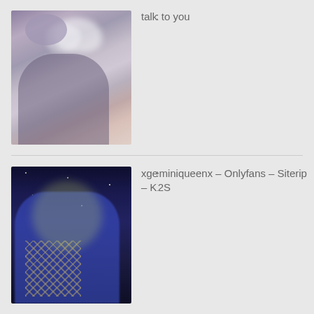[Figure (photo): Photo of a person with short light purple/grey hair exhaling vapor/smoke, wearing a grey bralette, seated on a couch with red and dark patterned fabric nearby.]
talk to you
[Figure (photo): Photo of a person in a blue outfit with fishnet/mesh detail, posing against a dark starry background.]
xgeminiqueenx – Onlyfans – Siterip – K2S